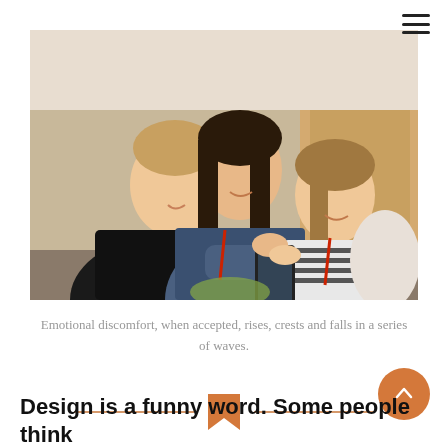[Figure (photo): Three people looking at a smartphone together and smiling, wearing lanyards at what appears to be a conference or event.]
Emotional discomfort, when accepted, rises, crests and falls in a series of waves.
[Figure (other): Decorative section divider with an orange bookmark icon flanked by two horizontal orange lines.]
Design is a funny word. Some people think